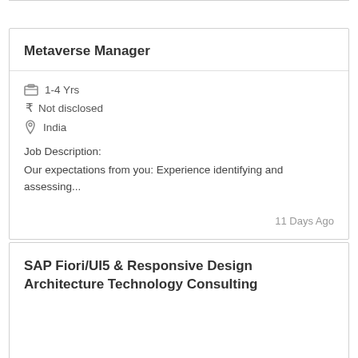Metaverse Manager
1-4 Yrs
₹ Not disclosed
India
Job Description:
Our expectations from you: Experience identifying and assessing...
11 Days Ago
SAP Fiori/UI5 & Responsive Design Architecture Technology Consulting